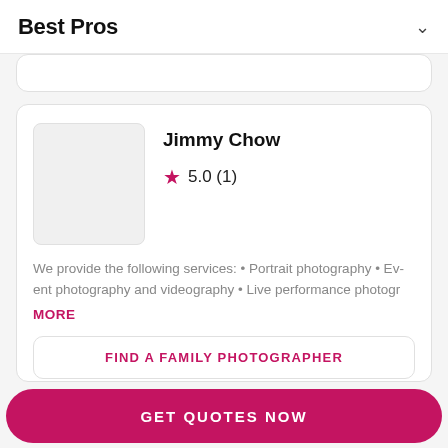Best Pros
Jimmy Chow
5.0 (1)
We provide the following services: • Portrait photography • Event photography and videography • Live performance photogr
MORE
FIND A FAMILY PHOTOGRAPHER
More...
GET QUOTES NOW